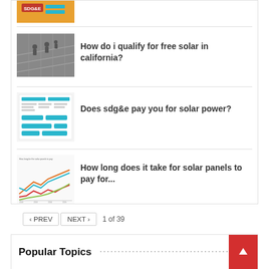[Figure (screenshot): Thumbnail image with SDG&E logo on orange background]
How do i qualify for free solar in california?
[Figure (photo): Grayscale photo of workers on solar panels rooftop]
Does sdg&e pay you for solar power?
[Figure (screenshot): Screenshot of SDG&E billing document with teal highlights]
How long does it take for solar panels to pay for...
[Figure (line-chart): Line chart showing multiple colored lines over time for solar panel payback]
< PREV   NEXT >   1 of 39
Popular Topics